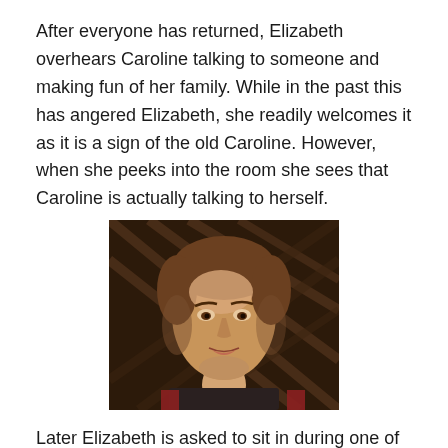After everyone has returned, Elizabeth overhears Caroline talking to someone and making fun of her family. While in the past this has angered Elizabeth, she readily welcomes it as it is a sign of the old Caroline. However, when she peeks into the room she sees that Caroline is actually talking to herself.
[Figure (photo): A man with short brown hair wearing a dark shirt, looking slightly surprised or concerned, photographed indoors with a wooden lattice background.]
Later Elizabeth is asked to sit in during one of Professor Randolph and Caroline's sessions, as Professor Randolph